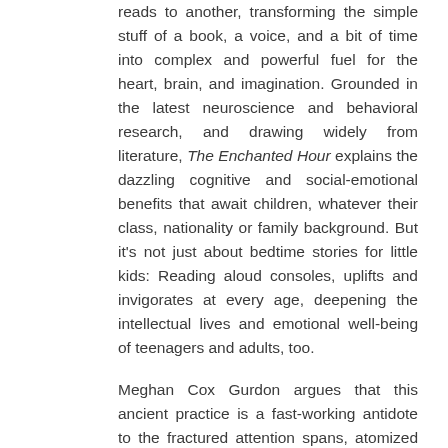reads to another, transforming the simple stuff of a book, a voice, and a bit of time into complex and powerful fuel for the heart, brain, and imagination. Grounded in the latest neuroscience and behavioral research, and drawing widely from literature, The Enchanted Hour explains the dazzling cognitive and social-emotional benefits that await children, whatever their class, nationality or family background. But it's not just about bedtime stories for little kids: Reading aloud consoles, uplifts and invigorates at every age, deepening the intellectual lives and emotional well-being of teenagers and adults, too.
Meghan Cox Gurdon argues that this ancient practice is a fast-working antidote to the fractured attention spans, atomized families and unfulfilling ephemera of the tech era, helping to replenish what our devices are leaching away. For everyone, reading aloud engages the mind in complex narratives; for children, it's an